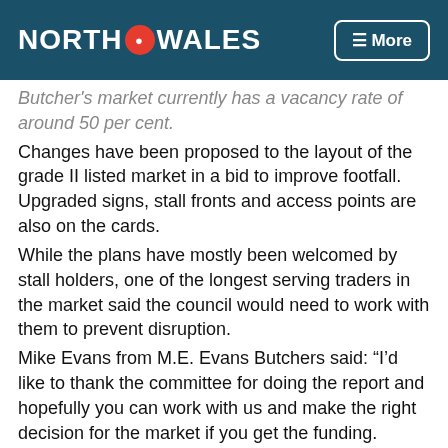NORTH DOT WALES
Butcher's market currently has a vacancy rate of around 50 per cent.
Changes have been proposed to the layout of the grade II listed market in a bid to improve footfall. Upgraded signs, stall fronts and access points are also on the cards.
While the plans have mostly been welcomed by stall holders, one of the longest serving traders in the market said the council would need to work with them to prevent disruption.
Mike Evans from M.E. Evans Butchers said: “I’d like to thank the committee for doing the report and hopefully you can work with us and make the right decision for the market if you get the funding.
“In making those decisions, I’d like to make you